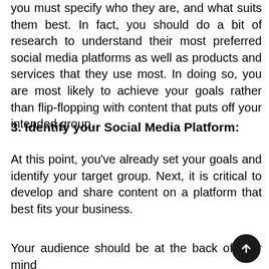you must specify who they are, and what suits them best. In fact, you should do a bit of research to understand their most preferred social media platforms as well as products and services that they use most. In doing so, you are most likely to achieve your goals rather than flip-flopping with content that puts off your intended group.
3. Identify your Social Media Platform:
At this point, you've already set your goals and identify your target group. Next, it is critical to develop and share content on a platform that best fits your business.
Your audience should be at the back of your mind